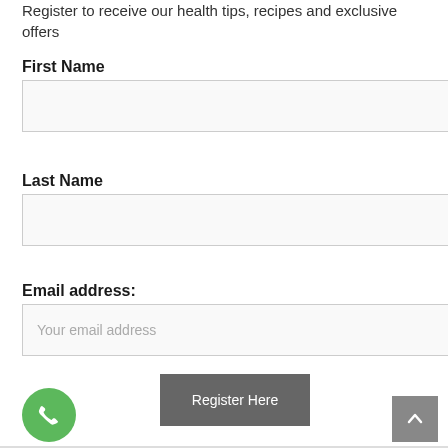Register to receive our health tips, recipes and exclusive offers
First Name
[Figure (other): First Name input field box (empty)]
Last Name
[Figure (other): Last Name input field box (empty)]
Email address:
[Figure (other): Email address input field with placeholder text 'Your email address']
[Figure (other): Register Here button (dark grey)]
[Figure (other): Green phone call button (circular) at bottom left]
[Figure (other): Grey scroll-to-top button at bottom right with upward chevron]